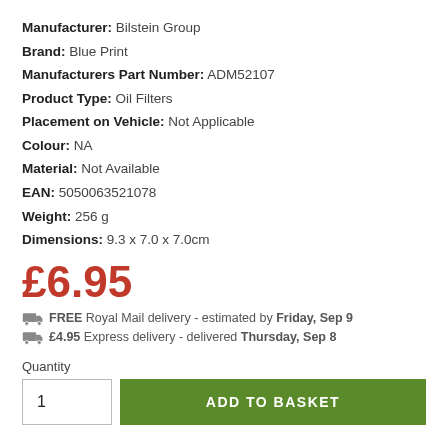Manufacturer: Bilstein Group
Brand: Blue Print
Manufacturers Part Number: ADM52107
Product Type: Oil Filters
Placement on Vehicle: Not Applicable
Colour: NA
Material: Not Available
EAN: 5050063521078
Weight: 256 g
Dimensions: 9.3 x 7.0 x 7.0cm
£6.95
FREE Royal Mail delivery - estimated by Friday, Sep 9
£4.95 Express delivery - delivered Thursday, Sep 8
Quantity
1
ADD TO BASKET